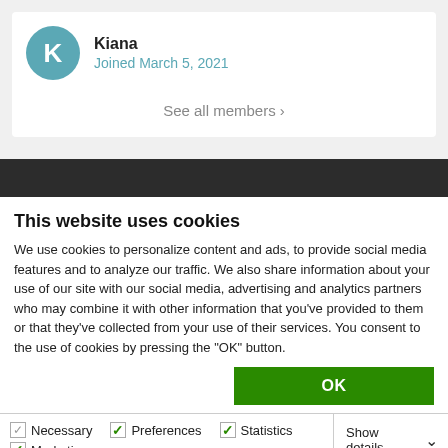Kiana
Joined March 5, 2021
See all members ›
This website uses cookies
We use cookies to personalize content and ads, to provide social media features and to analyze our traffic. We also share information about your use of our site with our social media, advertising and analytics partners who may combine it with other information that you've provided to them or that they've collected from your use of their services. You consent to the use of cookies by pressing the "OK" button.
OK
Necessary  Preferences  Statistics  Marketing  Show details